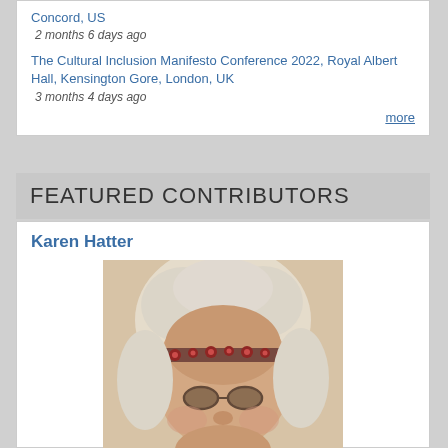Concord, US
2 months 6 days ago
The Cultural Inclusion Manifesto Conference 2022, Royal Albert Hall, Kensington Gore, London, UK
3 months 4 days ago
more
FEATURED CONTRIBUTORS
Karen Hatter
[Figure (photo): Portrait photo of Karen Hatter, a person with curly light-colored hair wearing a decorative headband, photographed close-up.]